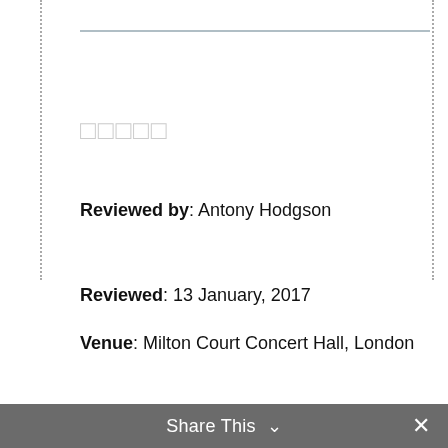[Figure (other): Star rating icons (5 empty/outline stars) used for review rating display]
Reviewed by: Antony Hodgson
Reviewed: 13 January, 2017
Venue: Milton Court Concert Hall, London
We use cookies on our website to give you the most relevant experience by remembering your preferences and repeat visits. By clicking "Accept", you consent to the use of ALL the cookies.
Cookie settings
ACCEPT
Share This